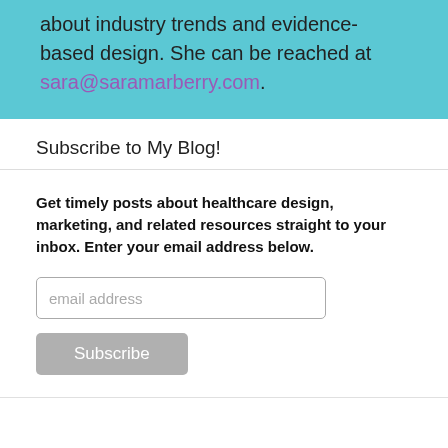about industry trends and evidence-based design. She can be reached at sara@saramarberry.com.
Subscribe to My Blog!
Get timely posts about healthcare design, marketing, and related resources straight to your inbox. Enter your email address below.